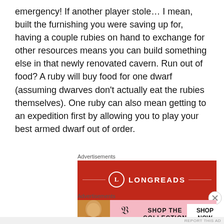emergency! If another player stole… I mean, built the furnishing you were saving up for, having a couple rubies on hand to exchange for other resources means you can build something else in that newly renovated cavern. Run out of food? A ruby will buy food for one dwarf (assuming dwarves don't actually eat the rubies themselves). One ruby can also mean getting to an expedition first by allowing you to play your best armed dwarf out of order.
[Figure (other): Longreads advertisement: red background with Longreads logo (L in circle), horizontal decorative lines, and tagline 'The best stories on the web...']
[Figure (other): Victoria's Secret advertisement: pink background with woman's photo, VS logo, text 'SHOP THE COLLECTION', and 'SHOP NOW' button]